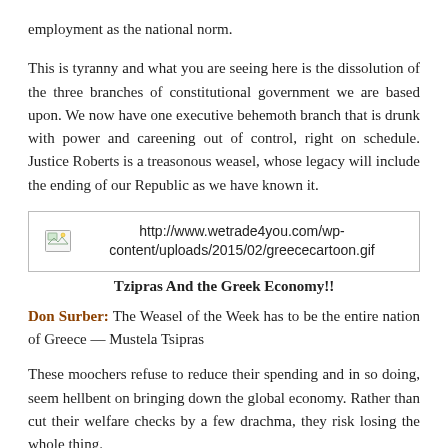employment as the national norm.
This is tyranny and what you are seeing here is the dissolution of the three branches of constitutional government we are based upon. We now have one executive behemoth branch that is drunk with power and careening out of control, right on schedule. Justice Roberts is a treasonous weasel, whose legacy will include the ending of our Republic as we have known it.
[Figure (other): Broken image placeholder with URL: http://www.wetrade4you.com/wp-content/uploads/2015/02/greececartoon.gif]
Tzipras And the Greek Economy!!
Don Surber: The Weasel of the Week has to be the entire nation of Greece — Mustela Tsipras
These moochers refuse to reduce their spending and in so doing, seem hellbent on bringing down the global economy. Rather than cut their welfare checks by a few drachma, they risk losing the whole thing.